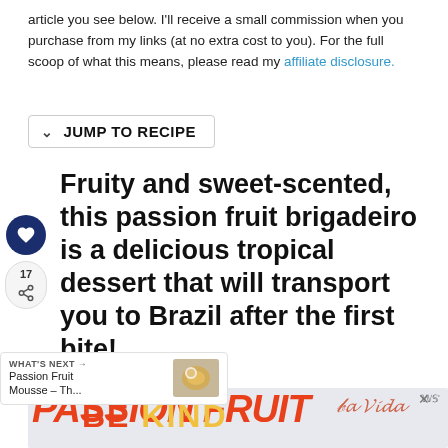article you see below. I'll receive a small commission when you purchase from my links (at no extra cost to you). For the full scoop of what this means, please read my affiliate disclosure.
JUMP TO RECIPE
Fruity and sweet-scented, this passion fruit brigadeiro is a delicious tropical dessert that will transport you to Brazil after the first bite!
[Figure (other): Sidebar with heart/save icon (dark blue circle), share count 17, and share button]
[Figure (other): What's Next banner: Passion Fruit Mousse – Th... with thumbnail image]
[Figure (other): Advertisement banner showing PASSION FRUIT text and BE KIND overlay with decorative script logo and close button]